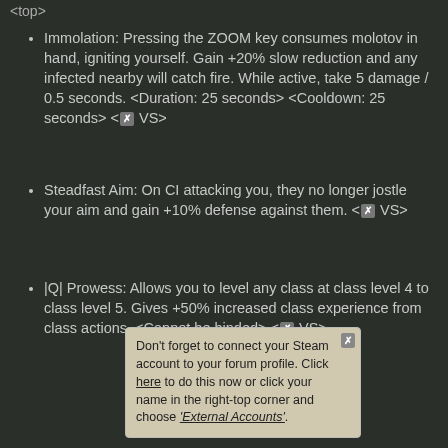<top>
Immolation: Pressing the ZOOM key consumes molotov in hand, igniting yourself. Gain +20% slow reduction and any infected nearby will catch fire. While active, take 5 damage / 0.5 seconds. <Duration: 25 seconds> <Cooldown: 25 seconds> <✗ VS>
Steadfast Aim: On CI attacking you, they no longer jostle your aim and gain +10% defense against them. <✗ VS>
|Q| Prowess: Allows you to level any class at class level 4 to class level 5. Gives +50% increased class experience from class actions. <Cannot be binded> <✗ VS>
|E| Berserk: When active, ignore defenses and immunities for 30 seconds. <Activate in !buy menu> <Cooldown: 5 minutes> <Immunity pierce negates at... (berserk)
Infirmary... equip 2 hea... (First Aid/Defib) at once. <Can't pickup second health item with throwable in hand, swap to other weapon first> <Press the ZOOM key with
Don't forget to connect your Steam account to your forum profile. Click here to do this now or click your name in the right-top corner and choose 'External Accounts'.